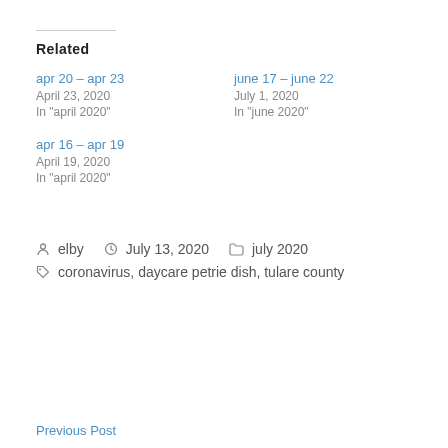Related
apr 20 – apr 23
April 23, 2020
In "april 2020"
june 17 – june 22
July 1, 2020
In "june 2020"
apr 16 – apr 19
April 19, 2020
In "april 2020"
elby  July 13, 2020  july 2020
coronavirus, daycare petrie dish, tulare county
Previous Post